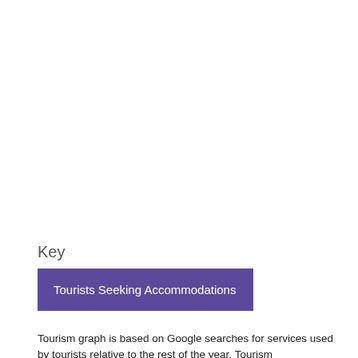Key
Tourists Seeking Accommodations
Tourism graph is based on Google searches for services used by tourists relative to the rest of the year. Tourism data for this region did the not updated by each country